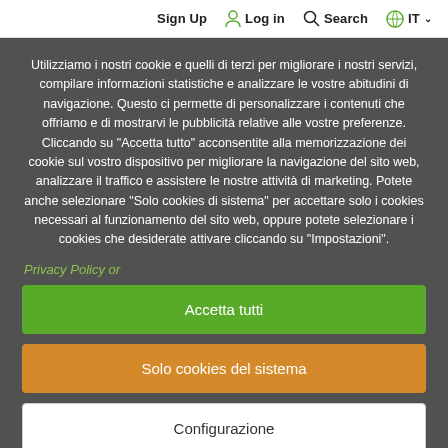Sign Up  Log in  Search  IT
Utilizziamo i nostri cookie e quelli di terzi per migliorare i nostri servizi, compilare informazioni statistiche e analizzare le vostre abitudini di navigazione. Questo ci permette di personalizzare i contenuti che offriamo e di mostrarvi le pubblicità relative alle vostre preferenze. Cliccando su "Accetta tutto" acconsentite alla memorizzazione dei cookie sul vostro dispositivo per migliorare la navigazione del sito web, analizzare il traffico e assistere le nostre attività di marketing. Potete anche selezionare "Solo cookies di sistema" per accettare solo i cookies necessari al funzionamento del sito web, oppure potete selezionare i cookies che desiderate attivare cliccando su "Impostazioni".
Privacy Policy or
Accetta tutti
Solo cookies del sistema
Configurazione